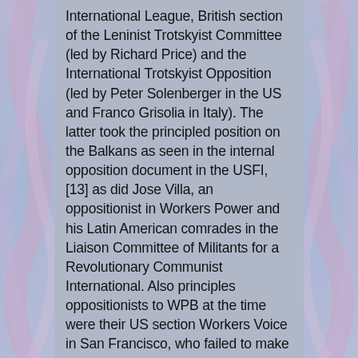International League, British section of the Leninist Trotskyist Committee (led by Richard Price) and the International Trotskyist Opposition (led by Peter Solenberger in the US and Franco Grisolia in Italy). The latter took the principled position on the Balkans as seen in the internal opposition document in the USFI, [13] as did Jose Villa, an oppositionist in Workers Power and his Latin American comrades in the Liaison Committee of Militants for a Revolutionary Communist International. Also principles oppositionists to WPB at the time were their US section Workers Voice in San Francisco, who failed to make a fusion with the LCMRCI, and the WRP of Greece. [14] The line of the WIL and LTT was gravitating towards that of Workers Power and I went along with that at the time. I am now